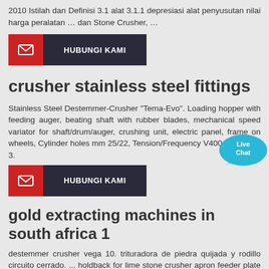2010 Istilah dan Definisi 3.1 alat 3.1.1 depresiasi alat penyusutan nilai harga peralatan … dan Stone Crusher, …
[Figure (other): Red and dark button with envelope icon labeled HUBUNGI KAMI]
crusher stainless steel fittings
Stainless Steel Destemmer-Crusher "Tema-Evo". Loading hopper with feeding auger, beating shaft with rubber blades, mechanical speed variator for shaft/drum/auger, crushing unit, electric panel, frame on wheels, Cylinder holes mm 25/22, Tension/Frequency V400 - Hz50 Ph 3.
[Figure (other): Red and dark button with envelope icon labeled HUBUNGI KAMI]
gold extracting machines in south africa 1
destemmer crusher vega 10. trituradora de piedra quijada y rodillo circuito cerrado. ... holdback for lime stone crusher apron feeder plate link conveyor sand manufacturing